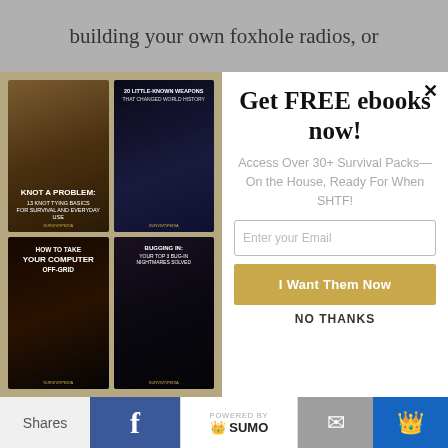building your own foxhole radios, or
[Figure (screenshot): Modal popup overlay on a webpage showing 4 survival ebook covers on the left (Knot A Problem, 20 Little-Known Weapons That Changed World History, How To Take Your Computer Off-Grid, Bugging In: Your Top 3 Bug-In Nightmares Solved) and a promotional panel on the right with headline 'Get FREE ebooks now!', subtitle 'Access Over 30+ Survival Packs—On the House, Ready For When SHTF!', email input field, 'I Want Them Now' button, and 'NO THANKS' link. Background has tan/gold border around book covers.]
Shares | [Facebook] | POWERED BY SUMO | [Mail] | [Crown]